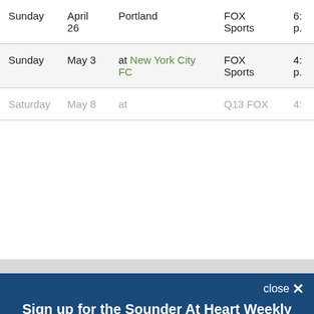| Day | Date | Opponent | Network | Time |
| --- | --- | --- | --- | --- |
| Sunday | April 26 | Portland | FOX Sports | 6:… p.… |
| Sunday | May 3 | at New York City FC | FOX Sports | 4:… p.… |
| Saturday | May 8 | at … | Q13 FOX | 4:… |
[Figure (screenshot): Modal popup overlay with newsletter signup. Title: 'Sign up for the Sounder At Heart Weekly Roundup newsletter!' Subtitle: 'A twice weekly roundup of Seattle Sounders and OL Reign news from Sounder at Heart'. Email input field and SUBSCRIBE button. Disclaimer about Terms and Privacy Notice, reCAPTCHA, Google Privacy Policy and Terms of Service.]